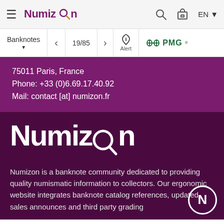Numizon — EN
Banknotes  <  19/85  >  Alert  PMG
75011 Paris, France
Phone: +33 (0)6.69.17.40.92
Mail: contact [at] numizon.fr
[Figure (logo): Numizon large white logo on dark purple background with magnifying glass replacing letter O]
Numizon is a banknote community dedicated to providing quality numismatic information to collectors. Our ergonomic website integrates banknote catalog references, updated sales announces and third party grading